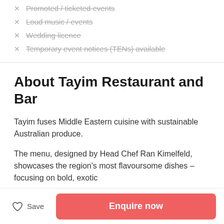Promoted / ticketed events
Loud music / events
Wedding licence
Temporary event notices (TENs) available
About Tayim Restaurant and Bar
Tayim fuses Middle Eastern cuisine with sustainable Australian produce.
The menu, designed by Head Chef Ran Kimelfeld, showcases the region's most flavoursome dishes – focusing on bold, exotic